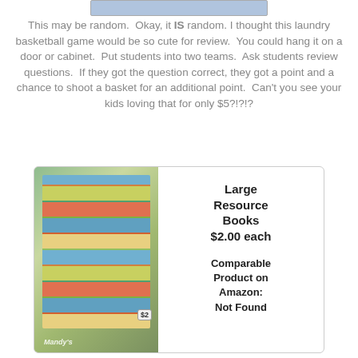[Figure (photo): Partial view of a colorful game/toy product at the top of the page]
This may be random.  Okay, it IS random. I thought this laundry basketball game would be so cute for review.  You could hang it on a door or cabinet.  Put students into two teams.  Ask students review questions.  If they got the question correct, they got a point and a chance to shoot a basket for an additional point.  Can't you see your kids loving that for only $5?!?!?
[Figure (photo): Photo of a store display rack with large resource books priced at $2 each, with text overlay: 'Large Resource Books $2.00 each. Comparable Product on Amazon: Not Found']